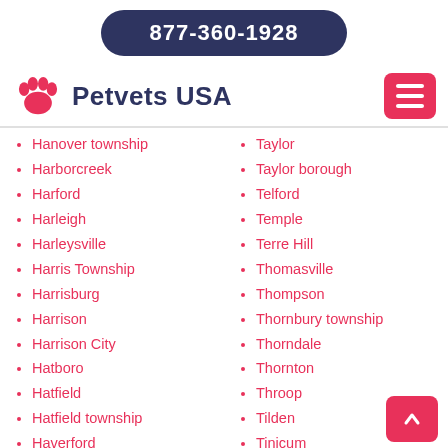877-360-1928
Petvets USA
Hanover township
Harborcreek
Harford
Harleigh
Harleysville
Harris Township
Harrisburg
Harrison
Harrison City
Hatboro
Hatfield
Hatfield township
Haverford
Taylor
Taylor borough
Telford
Temple
Terre Hill
Thomasville
Thompson
Thornbury township
Thorndale
Thornton
Throop
Tilden
Tinicum